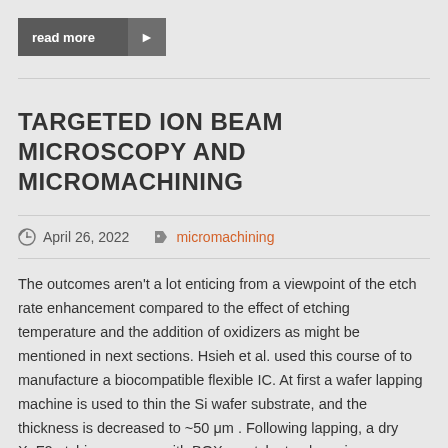read more ▶
TARGETED ION BEAM MICROSCOPY AND MICROMACHINING
April 26, 2022   micromachining
The outcomes aren't a lot enticing from a viewpoint of the etch rate enhancement compared to the effect of etching temperature and the addition of oxidizers as might be mentioned in next sections. Hsieh et al. used this course of to manufacture a biocompatible flexible IC. At first a wafer lapping machine is used to thin the Si wafer substrate, and the thickness is decreased to ~50 μm . Following lapping, a dry XeF2 etching process with BOX as etch stop layer is